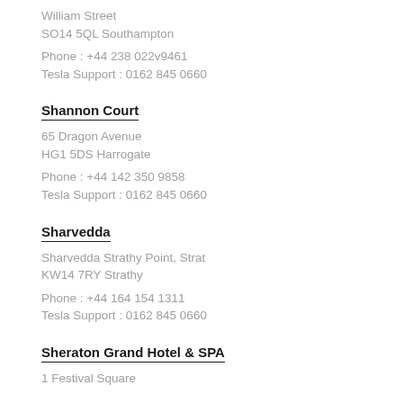William Street
SO14 5QL Southampton
Phone : +44 238 022v9461
Tesla Support : 0162 845 0660
Shannon Court
65 Dragon Avenue
HG1 5DS Harrogate
Phone : +44 142 350 9858
Tesla Support : 0162 845 0660
Sharvedda
Sharvedda Strathy Point, Strat
KW14 7RY Strathy
Phone : +44 164 154 1311
Tesla Support : 0162 845 0660
Sheraton Grand Hotel & SPA
1 Festival Square